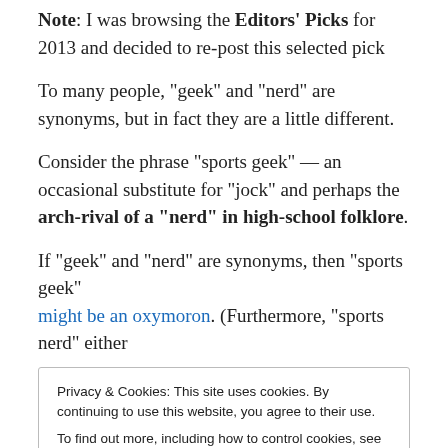Note: I was browsing the Editors' Picks for 2013 and decided to re-post this selected pick
To many people, “geek” and “nerd” are synonyms, but in fact they are a little different.
Consider the phrase “sports geek” — an occasional substitute for “jock” and perhaps the arch-rival of a “nerd” in high-school folklore.
If “geek” and “nerd” are synonyms, then “sports geek” might be an oxymoron. (Furthermore, “sports nerd” either
Privacy & Cookies: This site uses cookies. By continuing to use this website, you agree to their use.
To find out more, including how to control cookies, see here: Cookie Policy
geek — An enthusiast of a particular topic or field